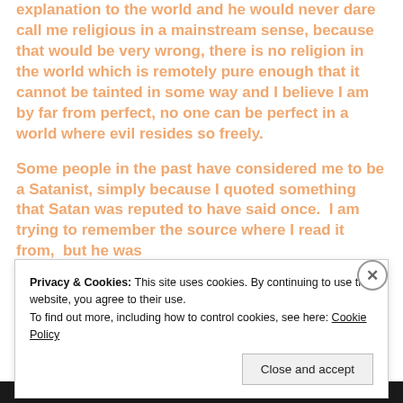explanation to the world and he would never dare call me religious in a mainstream sense, because that would be very wrong, there is no religion in the world which is remotely pure enough that it cannot be tainted in some way and I believe I am by far from perfect, no one can be perfect in a world where evil resides so freely.
Some people in the past have considered me to be a Satanist, simply because I quoted something that Satan was reputed to have said once. I am trying to remember the source where I read it from, but he was
Privacy & Cookies: This site uses cookies. By continuing to use this website, you agree to their use.
To find out more, including how to control cookies, see here: Cookie Policy
Close and accept